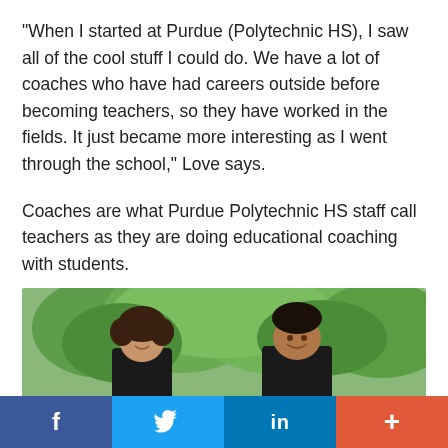“When I started at Purdue (Polytechnic HS), I saw all of the cool stuff I could do. We have a lot of coaches who have had careers outside before becoming teachers, so they have worked in the fields. It just became more interesting as I went through the school,” Love says.
Coaches are what Purdue Polytechnic HS staff call teachers as they are doing educational coaching with students.
[Figure (photo): Two young male students smiling outdoors in front of green trees, both wearing dark shirts]
f  [Twitter bird]  in  +